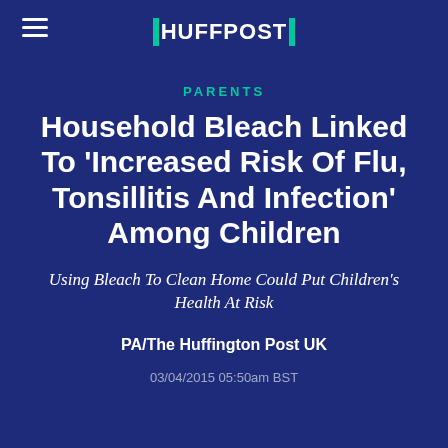HUFFPOST
PARENTS
Household Bleach Linked To 'Increased Risk Of Flu, Tonsillitis And Infection' Among Children
Using Bleach To Clean Home Could Put Children's Health At Risk
PA/The Huffington Post UK
03/04/2015 05:50am BST